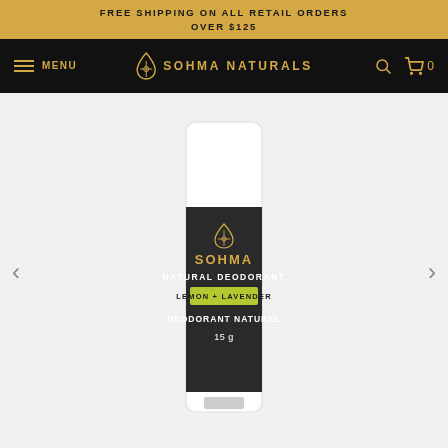FREE SHIPPING ON ALL RETAIL ORDERS OVER $125
MENU  SOHMA NATURALS  🔍  🛒 0
[Figure (photo): Sohma Naturals Natural Deodorant stick in Lemon + Lavender scent, 15g, white container with dark label showing gold Sohma logo, on a light grey background with left and right navigation arrows]